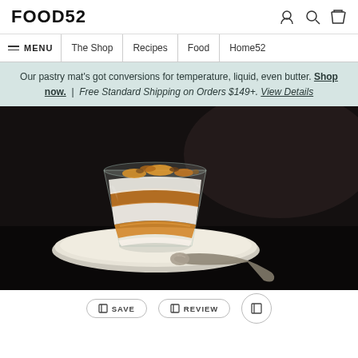FOOD52
MENU | The Shop | Recipes | Food | Home52
Our pastry mat's got conversions for temperature, liquid, even butter. Shop now. | Free Standard Shipping on Orders $149+. View Details
[Figure (photo): A layered dessert in a glass cup on a white saucer with a spoon, showing cream and orange/caramel layers, on a dark background.]
SAVE | REVIEW